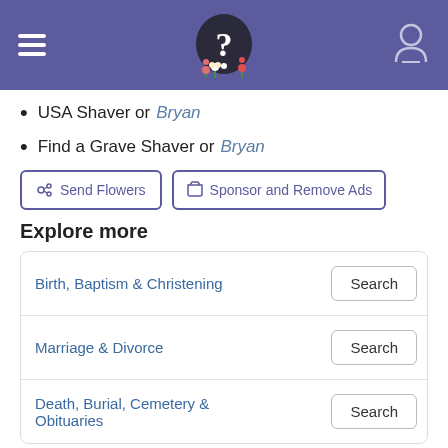Header with hamburger menu, logo (? icon with flowers), and user icon
USA Shaver or Bryan
Find a Grave Shaver or Bryan
Send Flowers | Sponsor and Remove Ads
Explore more
| Category | Action |
| --- | --- |
| Birth, Baptism & Christening | Search |
| Marriage & Divorce | Search |
| Death, Burial, Cemetery & Obituaries | Search |
Sponsored by Ancestry